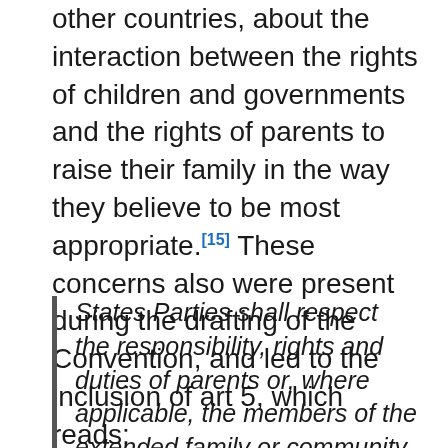other countries, about the interaction between the rights of children and governments and the rights of parents to raise their family in the way they believe to be most appropriate.[15] These concerns also were present during the drafting of the Convention, and led to the inclusion of art 5, which reads:
States Parties shall respect the responsibility, rights and duties of parents or, where applicable, the members of the extended family or community as provided for by